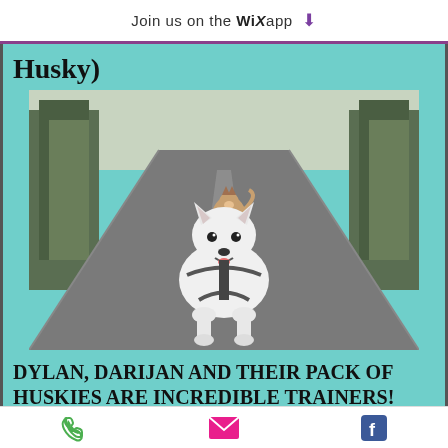Join us on the WiX app ↓
Husky)
[Figure (photo): Two dogs running on a paved road through a forest. A white husky in the foreground runs toward the camera wearing a harness, and a darker husky is visible in the background.]
Dylan, Darijan and their pack of huskies are incredible trainers! When we adopted our two pups, they
Phone | Email | Facebook